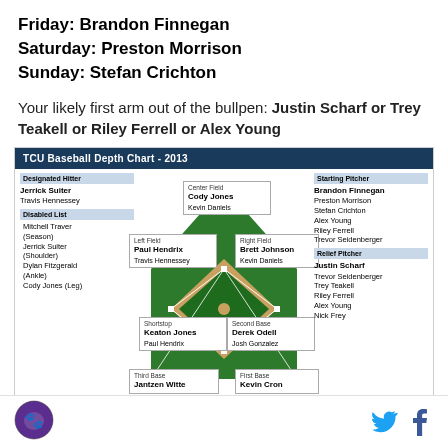Friday: Brandon Finnegan
Saturday: Preston Morrison
Sunday: Stefan Crichton
Your likely first arm out of the bullpen: Justin Scharf or Trey Teakell or Riley Ferrell or Alex Young
[Figure (organizational-chart): TCU Baseball Depth Chart - 2013 showing positions: Designated Hitter (Jerrick Suiter, Travis Hennessey), Disabled List (Mitchell Traver Season, Jerrick Suiter Shoulder, Dylan Fitzgerald Ankle, Cody Jones Leg), Center Field (Cody Jones, Kevin Daniels), Left Field (Paul Hendrix, Travis Hennessey), Right Field (Brett Johnson, Kevin Daniels), Shortstop (Keaton Jones, Paul Hendrix), Second Base (Derek Odell, Josh Gonzalez), Third Base (Jantzen Witte), First Base (Kevin Cron), Starting Pitcher (Brandon Finnegan, Preston Morrison, Stefan Crichton, Alex Young, Riley Ferrell, Trevor Seidenberger), Relief Pitcher (Justin Scharf, Trevor Seidenberger, Trey Teakell, Riley Ferrell, Alex Young, Nick Frey)]